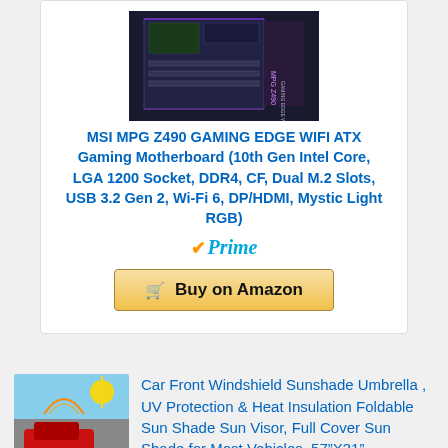[Figure (photo): MSI MPG Z490 Gaming Edge WIFI ATX Motherboard product image on dark background]
MSI MPG Z490 GAMING EDGE WIFI ATX Gaming Motherboard (10th Gen Intel Core, LGA 1200 Socket, DDR4, CF, Dual M.2 Slots, USB 3.2 Gen 2, Wi-Fi 6, DP/HDMI, Mystic Light RGB)
[Figure (logo): Amazon Prime badge with checkmark]
[Figure (other): Buy on Amazon button with shopping cart icon]
[Figure (photo): Car Front Windshield Sunshade product thumbnail]
Car Front Windshield Sunshade Umbrella , UV Protection & Heat Insulation Foldable Sun Shade Sun Visor, Full Cover Sun Shade for Most Vehicles, 57”X31”
[Figure (photo): OWC 32GB RAM memory sticks product thumbnail]
OWC 32GB (2X 16GB) 1866MHz PC3-14900 DDR3 ECC-R SDRAM Memory Upgrade Kit, ECC Registered